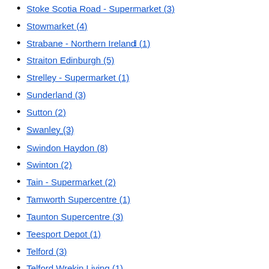Stoke Scotia Road - Supermarket (3)
Stowmarket (4)
Strabane - Northern Ireland (1)
Straiton Edinburgh (5)
Strelley - Supermarket (1)
Sunderland (3)
Sutton (2)
Swanley (3)
Swindon Haydon (8)
Swinton (2)
Tain - Supermarket (2)
Tamworth Supercentre (1)
Taunton Supercentre (3)
Teesport Depot (1)
Telford (3)
Telford Wrekin Living (1)
Thurmaston (5)
Thurnscoe - Supermarket (1)
Tilbury (2)
Tilbury - Petrol Filling Station (1)
Tilehurst (4)
Tipton (1)
Tiptree - Supermarket (2)
Torquay - Supermarket (1)
Totton (4)
Trafford Park Supercentre (7)